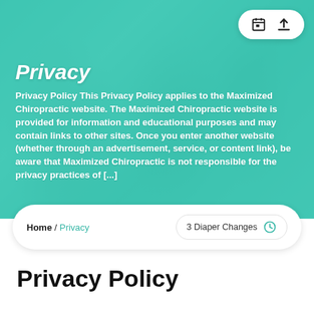[Figure (screenshot): Hero image of people looking at a tablet/phone, overlaid with teal/green color wash]
Privacy
Privacy Policy This Privacy Policy applies to the Maximized Chiropractic website. The Maximized Chiropractic website is provided for information and educational purposes and may contain links to other sites. Once you enter another website (whether through an advertisement, service, or content link), be aware that Maximized Chiropractic is not responsible for the privacy practices of [...]
Home / Privacy
3 Diaper Changes
Privacy Policy